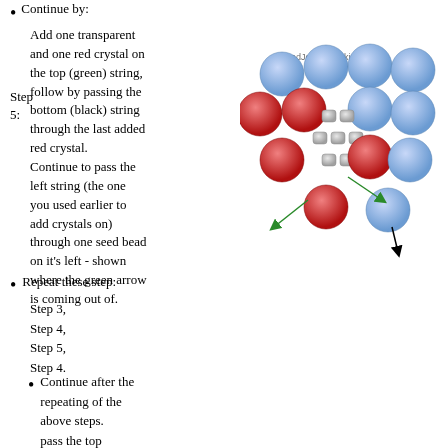Continue by: Add one transparent and one red crystal on the top (green) string, follow by passing the bottom (black) string through the last added red crystal. Continue to pass the left string (the one you used earlier to add crystals on) through one seed bead on it's left - shown where the green arrow is coming out of.
Step 5:
[Figure (illustration): Illustration of red and blue crystals with seed beads arranged in a jewelry pattern, with green and black arrows indicating string paths. Watermark: BeadJewelryMaking.com]
Repeat these step:
Step 3,
Step 4,
Step 5,
Step 4.
Continue after the repeating of the above steps. pass the top